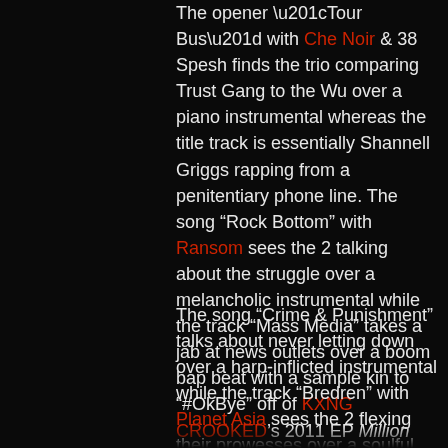The opener “Tour Bus” with Che Noir & 38 Spesh finds the trio comparing Trust Gang to the Wu over a piano instrumental whereas the title track is essentially Shannell Griggs rapping from a penitentiary phone line. The song “Rock Bottom” with Ransom sees the 2 talking about the struggle over a melancholic instrumental while the track “Mass Media” takes a jab at news outlets over a boom bap beat with a sample kin to “#OkBye” off of KXNG CROOKED’s 2011 EP Million Dollar $tory.
The song “Crime & Punishment” talks about never letting down over a harp-inflicted instrumental while the track “Bredren” with Planet Asia sees the 2 flexing their prowesses over a soulful beat. The song “Dyckman” with The Musalini finds the 2 getting romantic over an instrumental with some beautiful vocal harmonies & after the “Post Game” skit, “The Blue Hood” tells the story of a corrupt cop over some demonic string sections. The penultimate track “C.E.O. Shug” talks about how “everybody can’t go” over a glistening beat & then closer “Black Owned” talks about doing it himself over a grim instrumental.